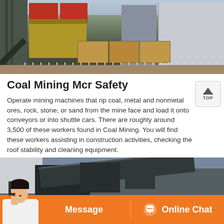[Figure (photo): Photograph of a coal mining facility showing industrial machinery, conveyor belts, red structures, yellow processing equipment, tanks, and wooden crates with white safety fencing in the foreground.]
Coal Mining Mcr Safety
Operate mining machines that rip coal, metal and nonmetal ores, rock, stone, or sand from the mine face and load it onto conveyors or into shuttle cars. There are roughly around 3,500 of these workers found in Coal Mining. You will find these workers assisting in construction activities, checking the roof stability and cleaning equipment.
[Figure (photo): Photograph of coal mining machinery and conveyor equipment at a mining site, showing dark industrial machinery against a gray sky.]
Message
Online Chat